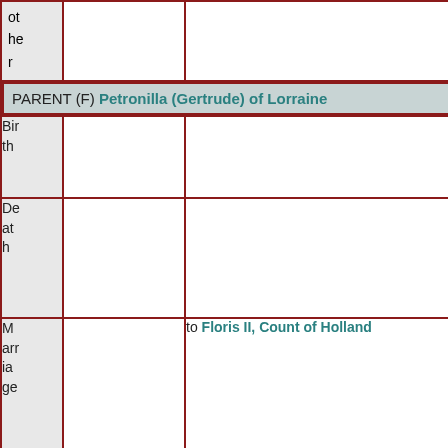| ot her |  |  |
| PARENT (F) Petronilla (Gertrude) of Lorraine |  |  |
| Birth |  |  |
| Death |  |  |
| Marriage |  | to Floris II, Count of Holland |
| Fa |  | Theodoric II, Duke of Lorraine |